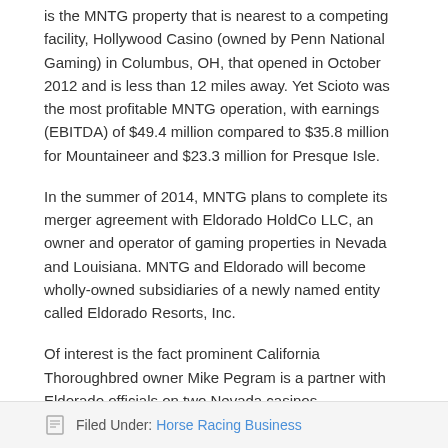is the MNTG property that is nearest to a competing facility, Hollywood Casino (owned by Penn National Gaming) in Columbus, OH, that opened in October 2012 and is less than 12 miles away.  Yet Scioto was the most profitable MNTG operation, with earnings (EBITDA) of $49.4 million compared to $35.8 million for Mountaineer and $23.3 million for Presque Isle.
In the summer of 2014, MNTG plans to complete its merger agreement with Eldorado HoldCo LLC, an owner and operator of gaming properties in Nevada and Louisiana.  MNTG and Eldorado will become wholly-owned subsidiaries of a newly named entity called Eldorado Resorts, Inc.
Of interest is the fact prominent California Thoroughbred owner Mike Pegram is a partner with Eldorado officials on two Nevada casinos.
A version of this article appeared in the Blood-Horse.  Copyright © 2014 Blood-Horse Publications.  Used with permission.
Filed Under: Horse Racing Business